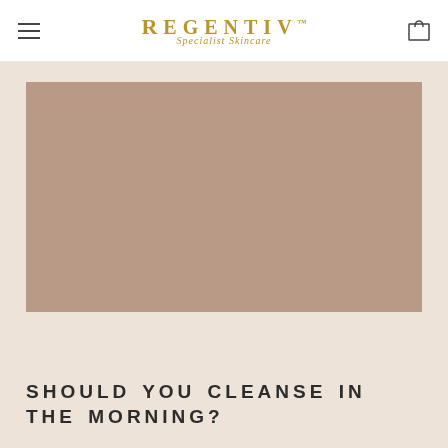REGENTIV Specialist Skincare
[Figure (photo): Large rectangular placeholder image with muted warm brown/taupe color, representing a hero image for a skincare blog article.]
SHOULD YOU CLEANSE IN THE MORNING?